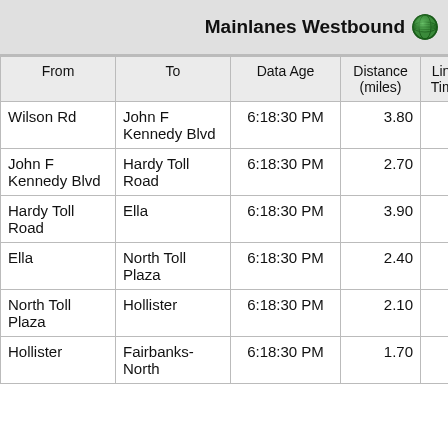Mainlanes Westbound
| From | To | Data Age | Distance (miles) | Link Travel Time(m:ss) |
| --- | --- | --- | --- | --- |
| Wilson Rd | John F Kennedy Blvd | 6:18:30 PM | 3.80 | 3:3 |
| John F Kennedy Blvd | Hardy Toll Road | 6:18:30 PM | 2.70 | 7:1 |
| Hardy Toll Road | Ella | 6:18:30 PM | 3.90 | 3:1 |
| Ella | North Toll Plaza | 6:18:30 PM | 2.40 | 3:0 |
| North Toll Plaza | Hollister | 6:18:30 PM | 2.10 | 3:3 |
| Hollister | Fairbanks-North | 6:18:30 PM | 1.70 | 1:4 |